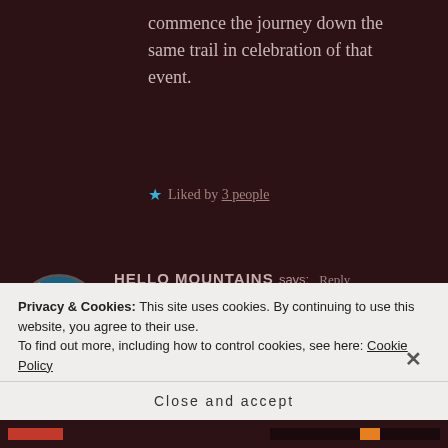commence the journey down the same trail in celebration of that event.
★ Liked by 3 people
HELLO MOUNTAINS says: Reply
February 24, 2017 at 6:16 am
Hi Frank, thank you so much for your kind words! I wish you all
Privacy & Cookies: This site uses cookies. By continuing to use this website, you agree to their use.
To find out more, including how to control cookies, see here: Cookie Policy
Close and accept